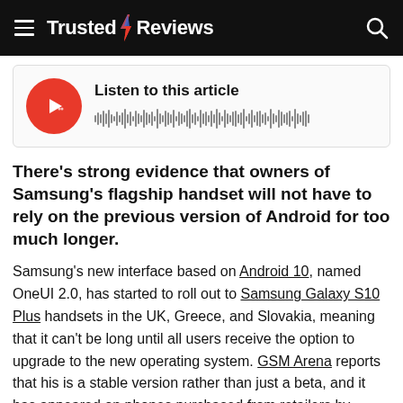Trusted Reviews
[Figure (other): Audio player widget with red circular play button and waveform visualization. Label reads 'Listen to this article'.]
There’s strong evidence that owners of Samsung’s flagship handset will not have to rely on the previous version of Android for too much longer.
Samsung’s new interface based on Android 10, named OneUI 2.0, has started to roll out to Samsung Galaxy S10 Plus handsets in the UK, Greece, and Slovakia, meaning that it can’t be long until all users receive the option to upgrade to the new operating system. GSM Arena reports that his is a stable version rather than just a beta, and it has appeared on phones purchased from retailers by